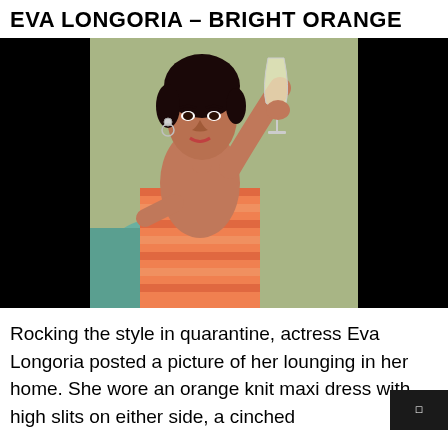EVA LONGORIA – BRIGHT ORANGE
[Figure (photo): Eva Longoria in an orange striped knit dress, lounging and holding up a glass of white wine, photographed indoors]
Rocking the style in quarantine, actress Eva Longoria posted a picture of her lounging in her home. She wore an orange knit maxi dress with high slits on either side, a cinched